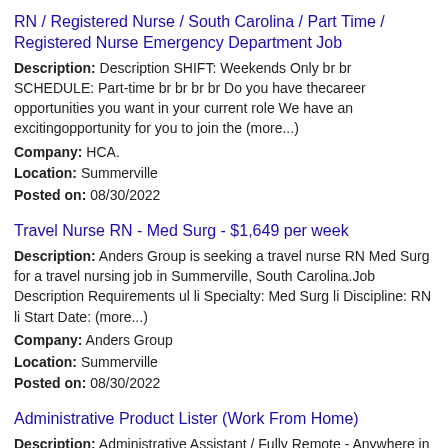RN / Registered Nurse / South Carolina / Part Time / Registered Nurse Emergency Department Job
Description: Description SHIFT: Weekends Only br br SCHEDULE: Part-time br br br br Do you have thecareer opportunities you want in your current role We have an excitingopportunity for you to join the (more...) Company: HCA. Location: Summerville Posted on: 08/30/2022
Travel Nurse RN - Med Surg - $1,649 per week
Description: Anders Group is seeking a travel nurse RN Med Surg for a travel nursing job in Summerville, South Carolina.Job Description Requirements ul li Specialty: Med Surg li Discipline: RN li Start Date: (more...) Company: Anders Group Location: Summerville Posted on: 08/30/2022
Administrative Product Lister (Work From Home)
Description: Administrative Assistant / Fully Remote - Anywhere in U.S. / 16 per hour Company: Hammoq